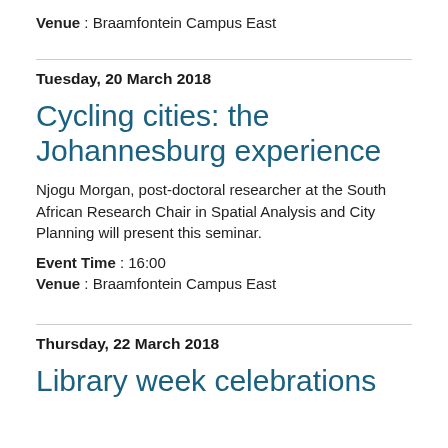Venue : Braamfontein Campus East
Tuesday, 20 March 2018
Cycling cities: the Johannesburg experience
Njogu Morgan, post-doctoral researcher at the South African Research Chair in Spatial Analysis and City Planning will present this seminar.
Event Time : 16:00
Venue : Braamfontein Campus East
Thursday, 22 March 2018
Library week celebrations